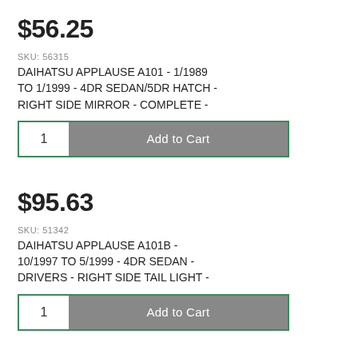$56.25
SKU: 56315
DAIHATSU APPLAUSE A101 - 1/1989 to 1/1999 - 4DR SEDAN/5DR HATCH - RIGHT SIDE MIRROR - COMPLETE -
$95.63
SKU: 51342
DAIHATSU APPLAUSE A101B - 10/1997 TO 5/1999 - 4DR SEDAN - DRIVERS - RIGHT SIDE TAIL LIGHT -